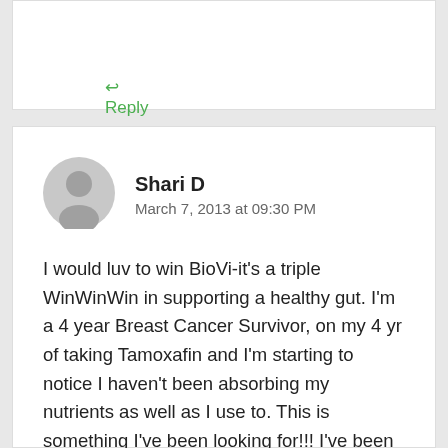↩ Reply
Shari D
March 7, 2013 at 09:30 PM
I would luv to win BioVi-it's a triple WinWinWin in supporting a healthy gut. I'm a 4 year Breast Cancer Survivor, on my 4 yr of taking Tamoxafin and I'm starting to notice I haven't been absorbing my nutrients as well as I use to. This is something I've been looking for!!! I've been subscribed for awhile and def will share as I know my friends